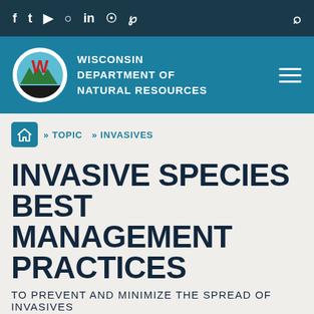Social media icons: Facebook, Twitter, YouTube, Instagram, LinkedIn, Headphones, Pinterest | Search
[Figure (logo): Wisconsin Department of Natural Resources logo with hamburger menu icon on teal background]
» TOPIC » INVASIVES
INVASIVE SPECIES BEST MANAGEMENT PRACTICES
TO PREVENT AND MINIMIZE THE SPREAD OF INVASIVES
To minimize the spread of invasive species, interested stakeholders are encouraged to...